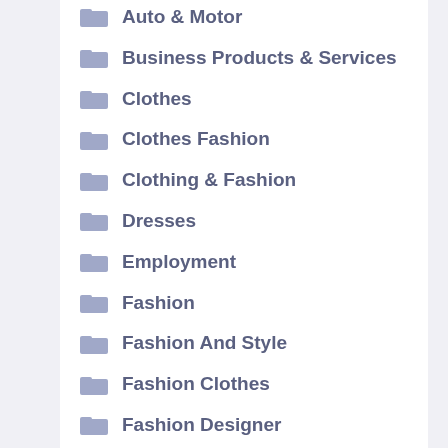Auto & Motor
Business Products & Services
Clothes
Clothes Fashion
Clothing & Fashion
Dresses
Employment
Fashion
Fashion And Style
Fashion Clothes
Fashion Designer
Fashion Dresses
Fashion Cl…